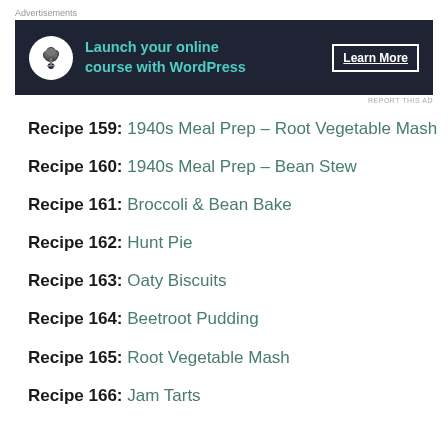[Figure (other): Advertisement banner: dark navy background with bonsai tree icon in white circle, teal text 'Launch your online course with WordPress', and 'Learn More' button with white underlined text]
Recipe 159: 1940s Meal Prep – Root Vegetable Mash
Recipe 160: 1940s Meal Prep – Bean Stew
Recipe 161: Broccoli & Bean Bake
Recipe 162: Hunt Pie
Recipe 163: Oaty Biscuits
Recipe 164: Beetroot Pudding
Recipe 165: Root Vegetable Mash
Recipe 166: Jam Tarts